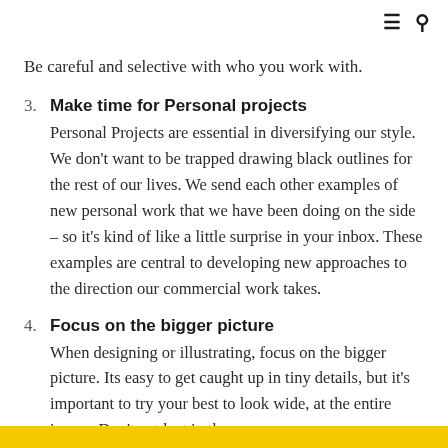≡ 🔍
Be careful and selective with who you work with.
3. Make time for Personal projects
Personal Projects are essential in diversifying our style. We don't want to be trapped drawing black outlines for the rest of our lives. We send each other examples of new personal work that we have been doing on the side – so it's kind of like a little surprise in your inbox. These examples are central to developing new approaches to the direction our commercial work takes.
4. Focus on the bigger picture
When designing or illustrating, focus on the bigger picture. Its easy to get caught up in tiny details, but it's important to try your best to look wide, at the entire image. Don't get lost in the